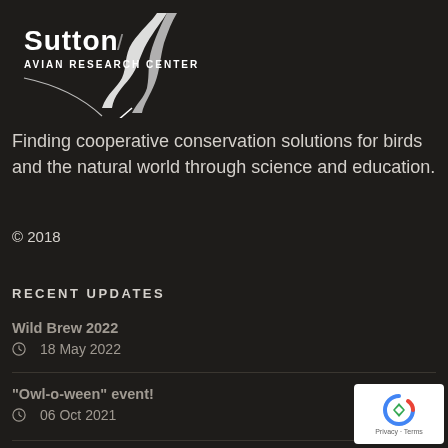[Figure (logo): Sutton Avian Research Center logo with bird/feather graphic, white text on dark background]
Finding cooperative conservation solutions for birds and the natural world through science and education.
© 2018
RECENT UPDATES
Wild Brew 2022
⊙  18 May 2022
"Owl-o-ween" event!
⊙  06 Oct 2021